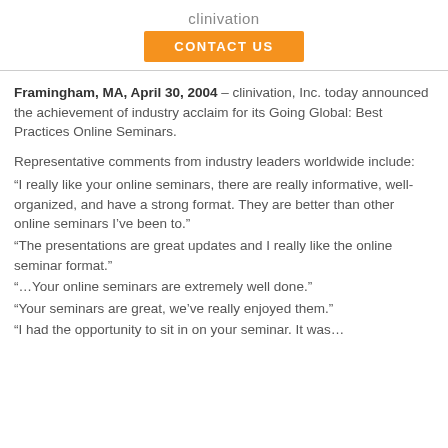clinivation
CONTACT US
Framingham, MA, April 30, 2004 – clinivation, Inc. today announced the achievement of industry acclaim for its Going Global: Best Practices Online Seminars.
Representative comments from industry leaders worldwide include:
“I really like your online seminars, there are really informative, well-organized, and have a strong format. They are better than other online seminars I’ve been to.”
“The presentations are great updates and I really like the online seminar format.”
“…Your online seminars are extremely well done.”
“Your seminars are great, we’ve really enjoyed them.”
“I had the opportunity to sit in on your seminar. It was…